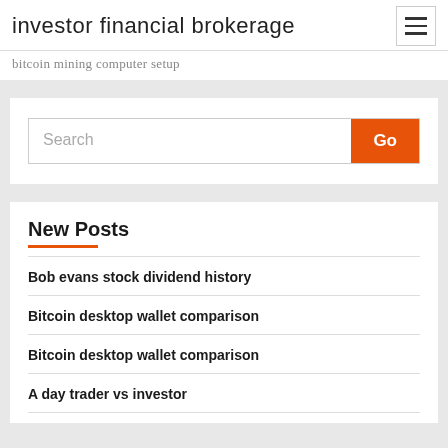investor financial brokerage
bitcoin mining computer setup
Search
New Posts
Bob evans stock dividend history
Bitcoin desktop wallet comparison
Bitcoin desktop wallet comparison
A day trader vs investor